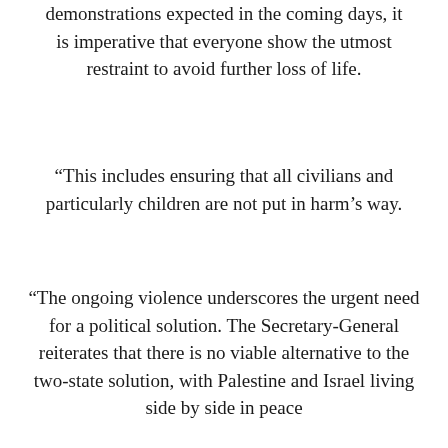demonstrations expected in the coming days, it is imperative that everyone show the utmost restraint to avoid further loss of life.
“This includes ensuring that all civilians and particularly children are not put in harm’s way.
“The ongoing violence underscores the urgent need for a political solution. The Secretary-General reiterates that there is no viable alternative to the two-state solution, with Palestine and Israel living side by side in peace